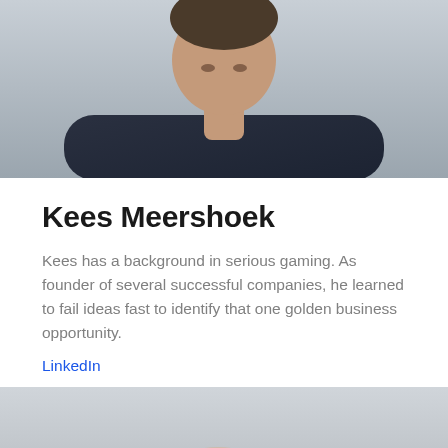[Figure (photo): Top portion of a person wearing a dark navy jacket over a white t-shirt, photo cropped at upper chest/shoulder area, against a light grey background]
Kees Meershoek
Kees has a background in serious gaming. As founder of several successful companies, he learned to fail ideas fast to identify that one golden business opportunity.
LinkedIn
[Figure (photo): Bottom portion of a person's head/face, photo cropped showing top of head against a light grey background]